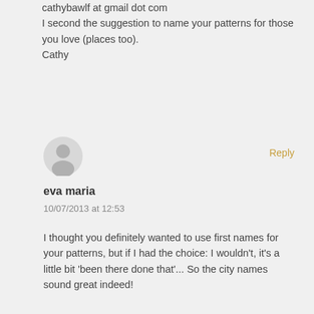cathybawlf at gmail dot com
I second the suggestion to name your patterns for those you love (places too).
Cathy
[Figure (illustration): Gray circular avatar icon showing a generic person silhouette]
Reply
eva maria
10/07/2013 at 12:53
I thought you definitely wanted to use first names for your patterns, but if I had the choice: I wouldn't, it's a little bit 'been there done that'... So the city names sound great indeed!